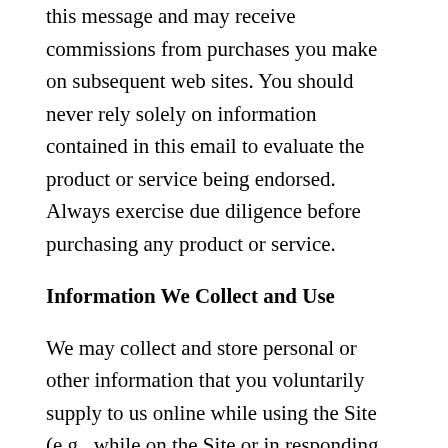this message and may receive commissions from purchases you make on subsequent web sites. You should never rely solely on information contained in this email to evaluate the product or service being endorsed. Always exercise due diligence before purchasing any product or service.
Information We Collect and Use
We may collect and store personal or other information that you voluntarily supply to us online while using the Site (e.g., while on the Site or in responding via email to a feature provided on the Site). This site only contacts individuals who specifically request that we do so or in the event that